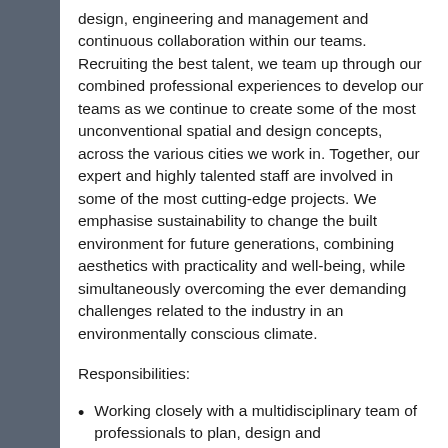design, engineering and management and continuous collaboration within our teams. Recruiting the best talent, we team up through our combined professional experiences to develop our teams as we continue to create some of the most unconventional spatial and design concepts, across the various cities we work in. Together, our expert and highly talented staff are involved in some of the most cutting-edge projects. We emphasise sustainability to change the built environment for future generations, combining aesthetics with practicality and well-being, while simultaneously overcoming the ever demanding challenges related to the industry in an environmentally conscious climate.
Responsibilities:
Working closely with a multidisciplinary team of professionals to plan, design and